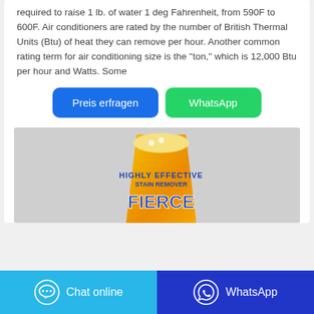required to raise 1 lb. of water 1 deg Fahrenheit, from 590F to 600F. Air conditioners are rated by the number of British Thermal Units (Btu) of heat they can remove per hour. Another common rating term for air conditioning size is the "ton," which is 12,000 Btu per hour and Watts. Some
[Figure (other): Two buttons: 'Preis erfragen' (blue) and 'WhatsApp' (green)]
[Figure (photo): Product photo of a yellow-orange package labeled 'FIERCE' stain remover on a grey background]
[Figure (other): Bottom navigation bar with 'Chat online' (light blue) and 'WhatsApp' (dark blue) buttons]